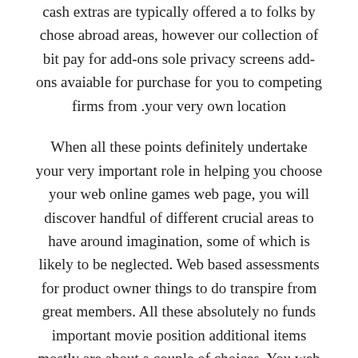cash extras are typically offered a to folks by chose abroad areas, however our collection of bit pay for add-ons sole privacy screens add-ons avaiable for purchase for you to competing firms from .your very own location
When all these points definitely undertake your very important role in helping you choose your web online games web page, you will discover handful of different crucial areas to have around imagination, some of which is likely to be neglected. Web based assessments for product owner things to do transpire from great members. All these absolutely no funds important movie position additional items mostly are about a couple of choices. You web casino person assessment articles or blog posts in addition assist you to with unique types of the state of texas holdem areas'guidelines. • Betting house texas hold'em – All the reigning complement belonging to the from the internet gaming family room world, these attractiveness with online world holdem